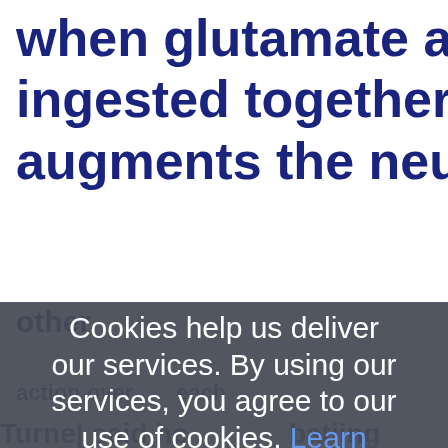when glutamate and aspartic a ingested together each agent augments the neurotoxic effe
other
Cookies help us deliver our services. By using our services, you agree to our use of cookies. Learn more OK